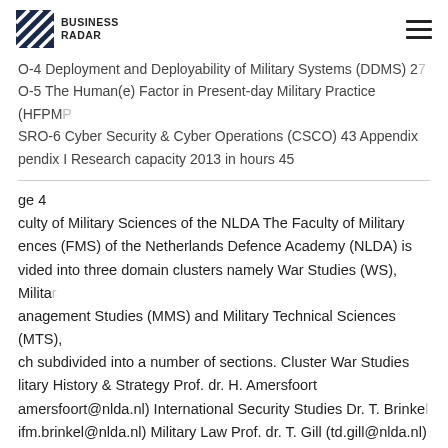BUSINESS RADAR
O-4 Deployment and Deployability of Military Systems (DDMS) 27 O-5 The Human(e) Factor in Present-day Military Practice (HFPMP) SRO-6 Cyber Security & Cyber Operations (CSCO) 43 Appendix pendix I Research capacity 2013 in hours 45
ge 4
culty of Military Sciences of the NLDA The Faculty of Military ences (FMS) of the Netherlands Defence Academy (NLDA) is vided into three domain clusters namely War Studies (WS), Military anagement Studies (MMS) and Military Technical Sciences (MTS), ch subdivided into a number of sections. Cluster War Studies litary History & Strategy Prof. dr. H. Amersfoort amersfoort@nlda.nl) International Security Studies Dr. T. Brinkel ifm.brinkel@nlda.nl) Military Law Prof. dr. T. Gill (td.gill@nlda.nl) litary Operational Art & Cdre prof. dr. F. Osinga b.osinga@nlda.nl) Sciences Cluster Military Management Studies